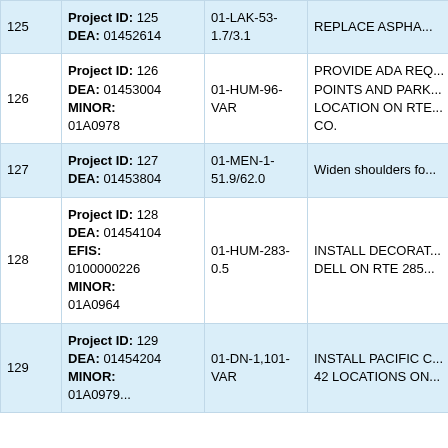| # | Project Info | Route | Description |
| --- | --- | --- | --- |
| 125 | Project ID: 125
DEA: 01452614 | 01-LAK-53-1.7/3.1 | REPLACE ASPHA... |
| 126 | Project ID: 126
DEA: 01453004
MINOR: 01A0978 | 01-HUM-96-VAR | PROVIDE ADA REQ...
POINTS AND PARK...
LOCATION ON RTE...
CO. |
| 127 | Project ID: 127
DEA: 01453804 | 01-MEN-1-51.9/62.0 | Widen shoulders fo... |
| 128 | Project ID: 128
DEA: 01454104
EFIS: 0100000226
MINOR: 01A0964 | 01-HUM-283-0.5 | INSTALL DECORAT...
DELL ON RTE 285... |
| 129 | Project ID: 129
DEA: 01454204
MINOR: 01A0979 | 01-DN-1,101-VAR | INSTALL PACIFIC C...
42 LOCATIONS ON... |